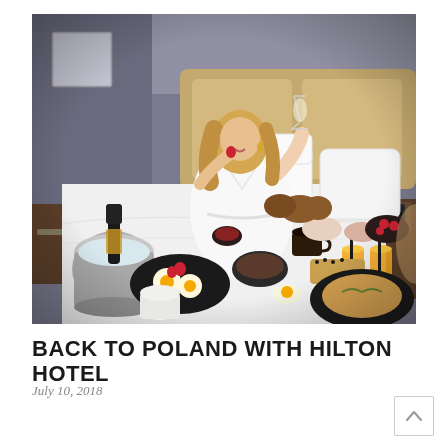[Figure (photo): A woman in a white bathrobe sitting on a hotel bed, holding a champagne glass and eating a strawberry. In front of her is a large spread of breakfast foods including orange juice, eggs, pastries, and a champagne bucket on ice. The hotel room has a wooden headboard and nightstand with a telephone.]
BACK TO POLAND WITH HILTON HOTEL
July 10, 2018